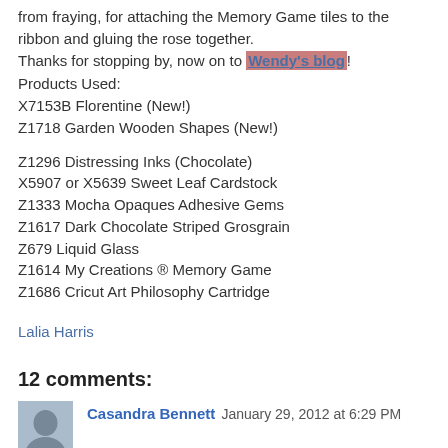from fraying, for attaching the Memory Game tiles to the ribbon and gluing the rose together.
Thanks for stopping by, now on to Wendy's blog!
Products Used:
X7153B Florentine (New!)
Z1718 Garden Wooden Shapes (New!)
Z1296 Distressing Inks (Chocolate)
X5907 or X5639 Sweet Leaf Cardstock
Z1333 Mocha Opaques Adhesive Gems
Z1617 Dark Chocolate Striped Grosgrain
Z679 Liquid Glass
Z1614 My Creations ® Memory Game
Z1686 Cricut Art Philosophy Cartridge
Lalia Harris
12 comments:
Casandra Bennett  January 29, 2012 at 6:29 PM